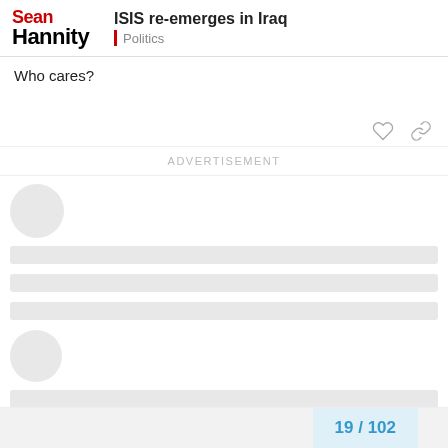Sean Hannity — ISIS re-emerges in Iraq — Politics
Who cares?
ADVERTISEMENT
[Figure (other): Loading skeleton placeholders: avatar circle, horizontal loading bars representing user posts loading]
19 / 102